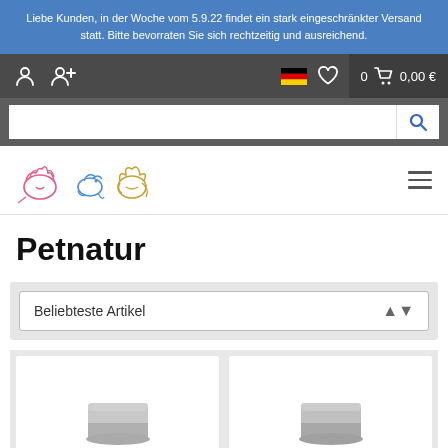Liebe Kunden, in der Woche vom 5.9.22 findet ein stark eingeschränkter Versand statt. Bitte bevorraten Sie sich rechtzeitig und ausreichend.
[Figure (screenshot): Navigation bar with user icons, German flag, heart/wishlist icon, cart showing 0 items and 0,00 €]
[Figure (screenshot): Search bar with magnifying glass icon]
[Figure (logo): Pet store logo with line drawings of a cat, bird, and dog in pink, blue, and gold]
Petnatur
Beliebteste Artikel
[Figure (photo): Two partially visible product cards showing pet food cans at the bottom of the page]